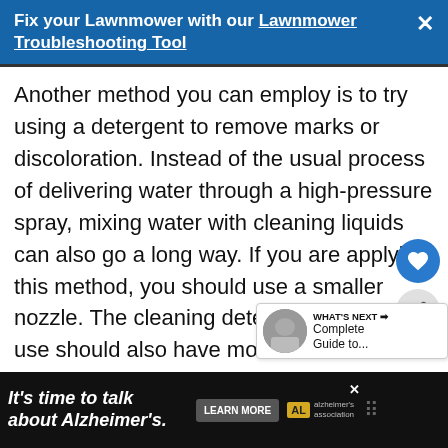Fix your Lawnmower with our Lawnmower Troubleshooting Tool
Another method you can employ is to try using a detergent to remove marks or discoloration. Instead of the usual process of delivering water through a high-pressure spray, mixing water with cleaning liquids can also go a long way. If you are applying this method, you should use a smaller nozzle. The cleaning detergent you plan to use should also have more detailed instructions on how to use it. If you follow those instructions, you should get the kind of results you want. There are other important things you have to keep in mind before you begin your pressure washing process.
[Figure (screenshot): WHAT'S NEXT widget with thumbnail and text 'Complete Guide to...']
It's time to talk about Alzheimer's. LEARN MORE